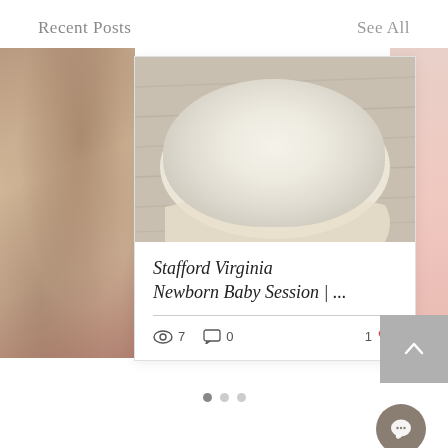Recent Posts    See All
[Figure (photo): Blog post card showing a newborn baby wrapped in cream fabric wearing a knit bonnet, lying on a wooden floor surface. Partially visible cards on left and right sides of a carousel.]
Stafford Virginia Newborn Baby Session | ...
7 views  0 comments  1 like